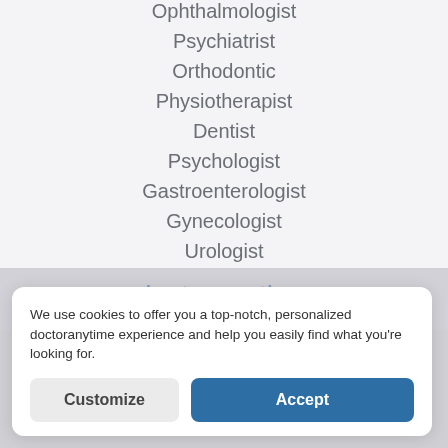Ophthalmologist
Psychiatrist
Orthodontic
Physiotherapist
Dentist
Psychologist
Gastroenterologist
Gynecologist
Urologist
doctoranytime
We use cookies to offer you a top-notch, personalized doctoranytime experience and help you easily find what you're looking for.
Customize
Accept